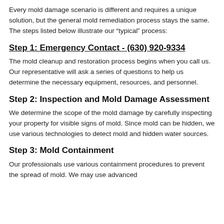Every mold damage scenario is different and requires a unique solution, but the general mold remediation process stays the same. The steps listed below illustrate our “typical” process:
Step 1: Emergency Contact - (630) 920-9334
The mold cleanup and restoration process begins when you call us. Our representative will ask a series of questions to help us determine the necessary equipment, resources, and personnel.
Step 2: Inspection and Mold Damage Assessment
We determine the scope of the mold damage by carefully inspecting your property for visible signs of mold. Since mold can be hidden, we use various technologies to detect mold and hidden water sources.
Step 3: Mold Containment
Our professionals use various containment procedures to prevent the spread of mold. We may use advanced